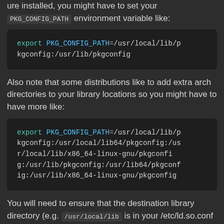ure installed, you might have to set your PKG_CONFIG_PATH environment variable like:
export PKG_CONFIG_PATH=/usr/local/lib/pkgconfig:/usr/lib/pkgconfig
Also note that some distributions like to add extra arch directories to your library locations so you might have to have more like:
export PKG_CONFIG_PATH=/usr/local/lib/pkgconfig:/usr/local/lib64/pkgconfig:/usr/local/lib/x86_64-linux-gnu/pkgconfig:/usr/lib/pkgconfig:/usr/lib64/pkgconfig:/usr/lib/x86_64-linux-gnu/pkgconfig
You will need to ensure that the destination library directory (e.g. /usr/local/lib is in your /etc/ld.so.conf or /etc/ld.so.conf.d/ file...